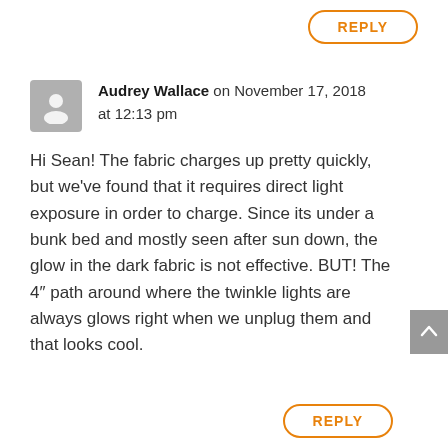REPLY
Audrey Wallace on November 17, 2018 at 12:13 pm
Hi Sean! The fabric charges up pretty quickly, but we’ve found that it requires direct light exposure in order to charge. Since its under a bunk bed and mostly seen after sun down, the glow in the dark fabric is not effective. BUT! The 4″ path around where the twinkle lights are always glows right when we unplug them and that looks cool.
REPLY